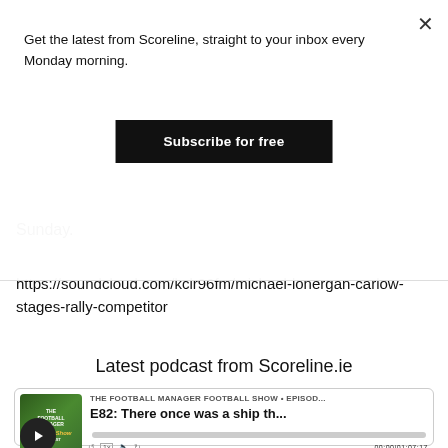Get the latest from Scoreline, straight to your inbox every Monday morning.
Subscribe for free
Sunday.
https://soundcloud.com/kclr96fm/michael-lonergan-carlow-stages-rally-competitor
Latest podcast from Scoreline.ie
[Figure (screenshot): Podcast player card for The Football Manager Football Show, Episode E82: There once was a ship th... with play button and progress bar showing 00:00|01:07:17]